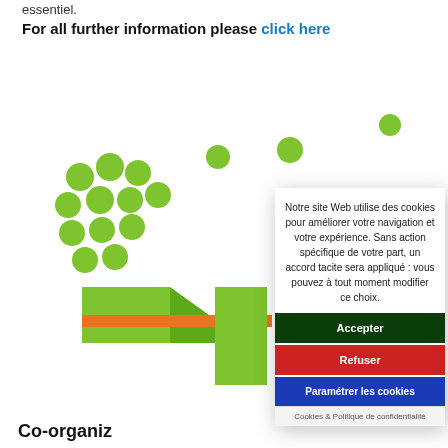essentiel.
For all further information please click here
[Figure (logo): Green circular dot pattern logo with green triangular/arrow shape and orange horizontal bar — organization logo, partially visible]
[Figure (screenshot): Cookie consent dialog overlay in French with text: Notre site Web utilise des cookies pour améliorer votre navigation et votre expérience. Sans action spécifique de votre part, un accord tacite sera appliqué : vous pouvez à tout moment modifier ce choix. Buttons: Accepter (dark green), Refuser (red), Paramétrer les cookies (blue). Footer: Cookies & Politique de confidentialité]
Co-organiz